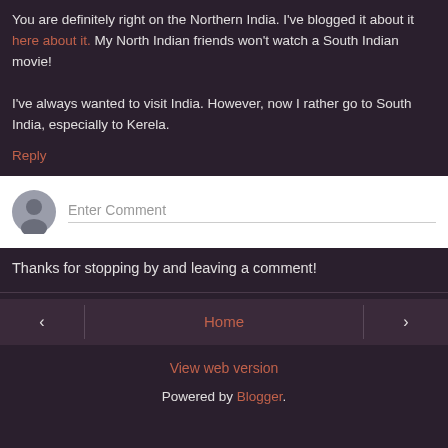You are definitely right on the Northern India. I've blogged it about it here about it. My North Indian friends won't watch a South Indian movie!

I've always wanted to visit India. However, now I rather go to South India, especially to Kerela.
Reply
[Figure (screenshot): Comment input box with grey avatar icon and 'Enter Comment' placeholder text]
Thanks for stopping by and leaving a comment!
Home
View web version
Powered by Blogger.